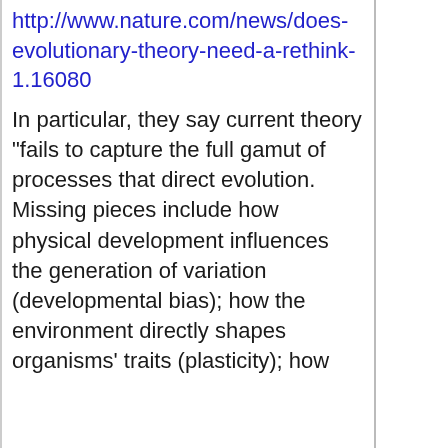http://www.nature.com/news/does-evolutionary-theory-need-a-rethink-1.16080
In particular, they say current theory "fails to capture the full gamut of processes that direct evolution. Missing pieces include how physical development influences the generation of variation (developmental bias); how the environment directly shapes organisms' traits (plasticity); how